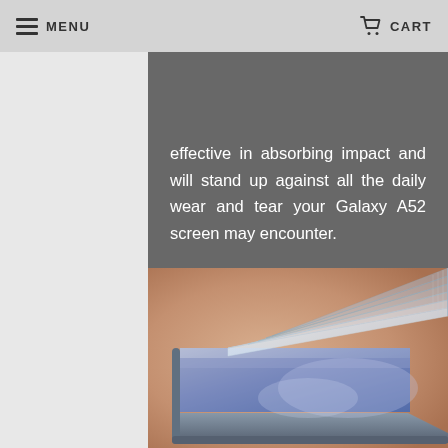MENU   CART
effective in absorbing impact and will stand up against all the daily wear and tear your Galaxy A52 screen may encounter.
[Figure (photo): Close-up product photo of a Samsung Galaxy A52 smartphone with a tempered glass screen protector being applied. The phone is shown at an angle on a warm beige/peach blurred background. The screen protector is partially lifted showing the glass layers.]